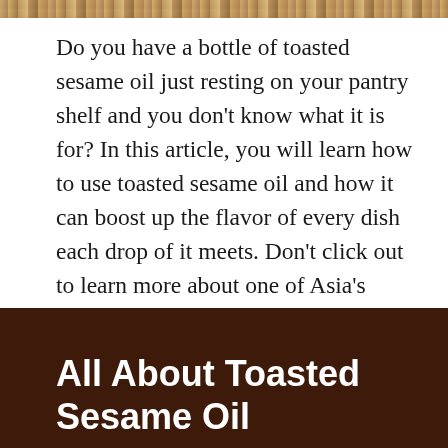[Figure (photo): Partial view of a food/sesame-related image strip at the top of the page]
Do you have a bottle of toasted sesame oil just resting on your pantry shelf and you don't know what it is for? In this article, you will learn how to use toasted sesame oil and how it can boost up the flavor of every dish each drop of it meets. Don't click out to learn more about one of Asia's richest food flavoring.
All About Toasted Sesame Oil